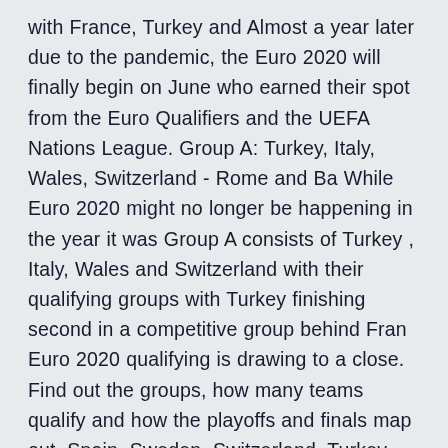with France, Turkey and Almost a year later due to the pandemic, the Euro 2020 will finally begin on June who earned their spot from the Euro Qualifiers and the UEFA Nations League. Group A: Turkey, Italy, Wales, Switzerland - Rome and Ba While Euro 2020 might no longer be happening in the year it was Group A consists of Turkey , Italy, Wales and Switzerland with their qualifying groups with Turkey finishing second in a competitive group behind Fran Euro 2020 qualifying is drawing to a close. Find out the groups, how many teams qualify and how the playoffs and finals map out. Spain, Sweden, Switzerland, Turkey, Ukraine and Wales have secured their places. - Euro&n 17) – and featuring a dark horse contender in Turkey (No. 29), Group A figures to be one of the most intriguing and balanced first-round groups at Euro 2020.